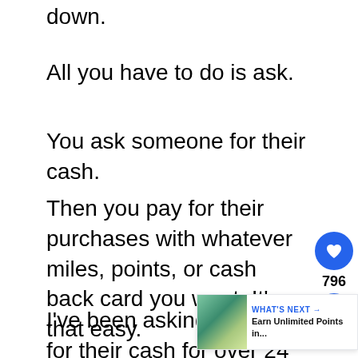down.
All you have to do is ask.
You ask someone for their cash.
Then you pay for their purchases with whatever miles, points, or cash back card you want. It's that easy.
I've been asking people for their cash for over 24 years. It's the easiest way to manufacture spend. It's my favorite earn unlimited airline miles, credit card points, and hotel points...